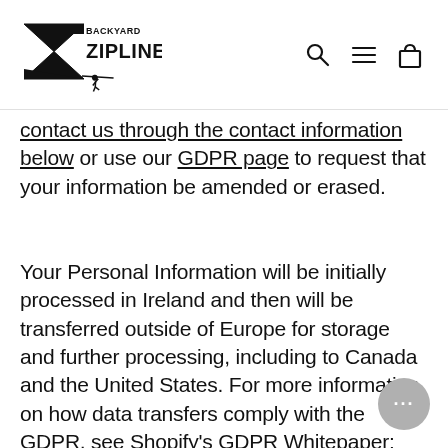Backyard Ziplines logo with search, menu, and cart icons
contact us through the contact information below or use our GDPR page to request that your information be amended or erased.
Your Personal Information will be initially processed in Ireland and then will be transferred outside of Europe for storage and further processing, including to Canada and the United States. For more information on how data transfers comply with the GDPR, see Shopify's GDPR Whitepaper: https://help.shopify.com/en/manual/your-account/privacy/GDPR.